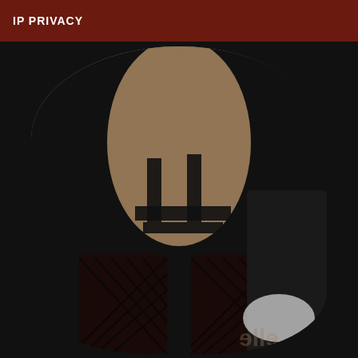IP PRIVACY
[Figure (photo): A person wearing black lingerie and fishnet stockings, posed against a backdrop with a dark leather surface and white fabric. The image is cropped in a rounded/oval shape with a dark background. Partial text visible at bottom.]